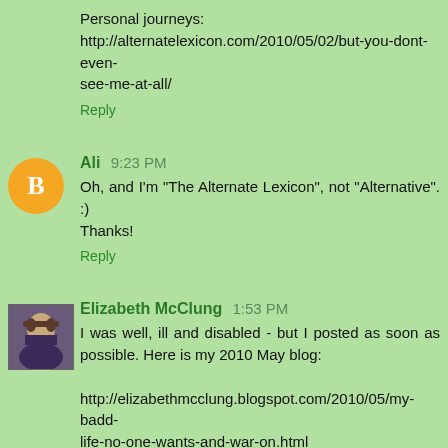Personal journeys:
http://alternatelexicon.com/2010/05/02/but-you-dont-even-see-me-at-all/
Reply
Ali 9:23 PM
Oh, and I'm "The Alternate Lexicon", not "Alternative". :) Thanks!
Reply
Elizabeth McClung 1:53 PM
I was well, ill and disabled - but I posted as soon as possible. Here is my 2010 May blog:

http://elizabethmcclung.blogspot.com/2010/05/my-badd-life-no-one-wants-and-war-on.html

and maybe the section Education or Disablism in Literature, Culture and the Media